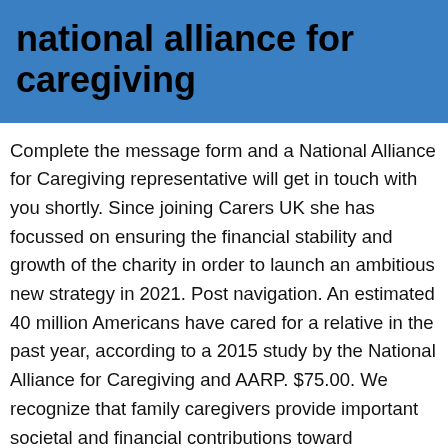national alliance for caregiving
Complete the message form and a National Alliance for Caregiving representative will get in touch with you shortly. Since joining Carers UK she has focussed on ensuring the financial stability and growth of the charity in order to launch an ambitious new strategy in 2021. Post navigation. An estimated 40 million Americans have cared for a relative in the past year, according to a 2015 study by the National Alliance for Caregiving and AARP. $75.00. We recognize that family caregivers provide important societal and financial contributions toward maintaining the well-being of those in their care. This webinar for family caregivers and advocates focuses on Medicare Part D's low income subsidy and features a presentation by a Centers for Medicare and Medicaid subject matter expert. The National Alliance for Caregiving is a